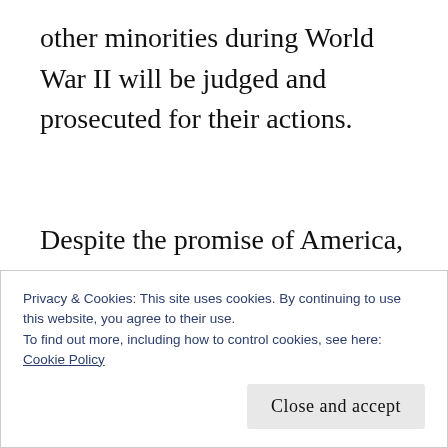other minorities during World War II will be judged and prosecuted for their actions.
Despite the promise of America, immigration will never be a black and white issue. It is my opinion that unfortunately, it's taken Americans over 200 years to realize that fact.
Privacy & Cookies: This site uses cookies. By continuing to use this website, you agree to their use.
To find out more, including how to control cookies, see here: Cookie Policy
Close and accept